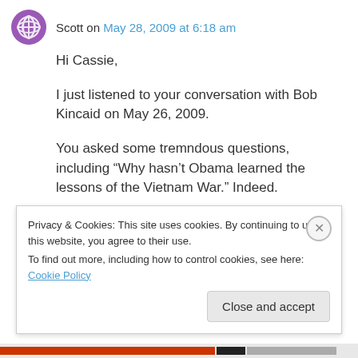Scott on May 28, 2009 at 6:18 am
Hi Cassie,
I just listened to your conversation with Bob Kincaid on May 26, 2009.
You asked some tremndous questions, including “Why hasn’t Obama learned the lessons of the Vietnam War.” Indeed.
I like your open, questioning mind. And I see
Privacy & Cookies: This site uses cookies. By continuing to use this website, you agree to their use.
To find out more, including how to control cookies, see here: Cookie Policy